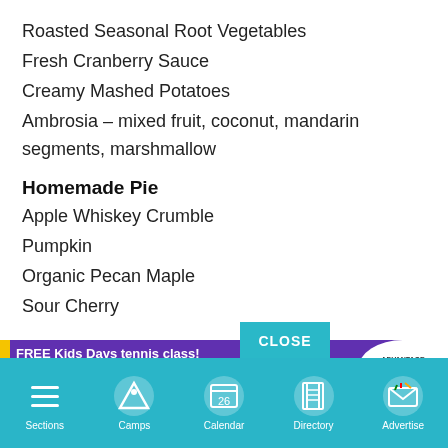Roasted Seasonal Root Vegetables
Fresh Cranberry Sauce
Creamy Mashed Potatoes
Ambrosia – mixed fruit, coconut, mandarin segments, marshmallow
Homemade Pie
Apple Whiskey Crumble
Pumpkin
Organic Pecan Maple
Sour Cherry
Bubby's…up until No…ck out
[Figure (screenshot): CLOSE button overlay and advertisement banner for FREE Kids Days tennis class by Advantage QuickStart Tennis]
[Figure (screenshot): Navigation bar with Sections, Camps, Calendar, Directory, Advertise icons]